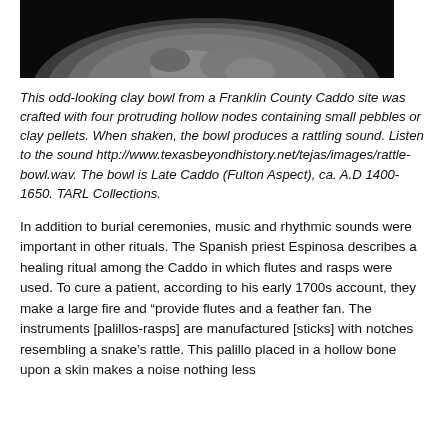[Figure (photo): Bottom portion of a clay bowl artifact photographed against a black background, showing a rounded gray pottery form.]
This odd-looking clay bowl from a Franklin County Caddo site was crafted with four protruding hollow nodes containing small pebbles or clay pellets. When shaken, the bowl produces a rattling sound. Listen to the sound http://www.texasbeyondhistory.net/tejas/images/rattle-bowl.wav. The bowl is Late Caddo (Fulton Aspect), ca. A.D 1400-1650. TARL Collections.
In addition to burial ceremonies, music and rhythmic sounds were important in other rituals. The Spanish priest Espinosa describes a healing ritual among the Caddo in which flutes and rasps were used. To cure a patient, according to his early 1700s account, they make a large fire and “provide flutes and a feather fan. The instruments [palillos-rasps] are manufactured [sticks] with notches resembling a snake’s rattle. This palillo placed in a hollow bone upon a skin makes a noise nothing less